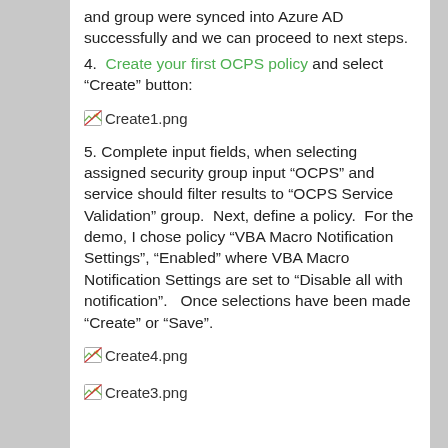and group were synced into Azure AD successfully and we can proceed to next steps.
4.  Create your first OCPS policy and select “Create” button:
[Figure (other): Broken image placeholder labeled Create1.png]
5. Complete input fields, when selecting assigned security group input “OCPS” and service should filter results to “OCPS Service Validation” group.  Next, define a policy.  For the demo, I chose policy “VBA Macro Notification Settings”, “Enabled” where VBA Macro Notification Settings are set to “Disable all with notification”.   Once selections have been made “Create” or “Save”.
[Figure (other): Broken image placeholder labeled Create4.png]
[Figure (other): Broken image placeholder labeled Create3.png]